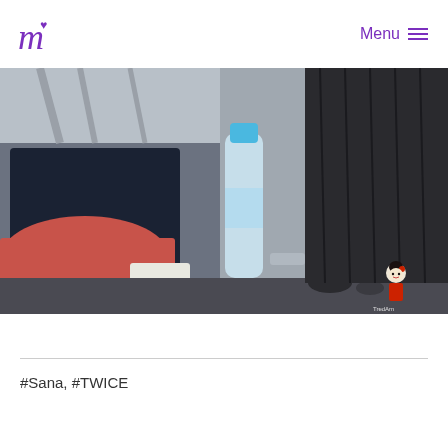Menu
[Figure (photo): A photo showing bags, a water bottle, and a person wearing a black outfit, placed on a surface, with a small illustrated character watermark in the bottom right corner.]
#Sana, #TWICE